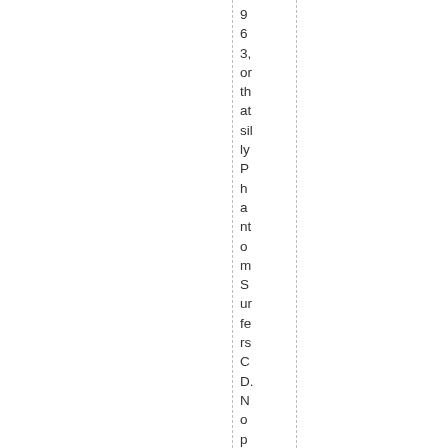963, or that silly Phantom Surfers CD. No open, not today